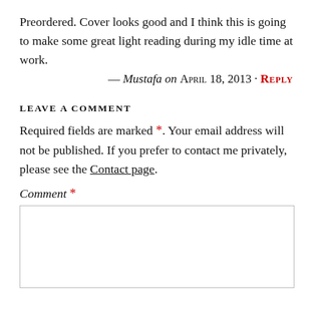Preordered. Cover looks good and I think this is going to make some great light reading during my idle time at work.
— Mustafa on APRIL 18, 2013 · REPLY
LEAVE A COMMENT
Required fields are marked *. Your email address will not be published. If you prefer to contact me privately, please see the Contact page.
Comment *